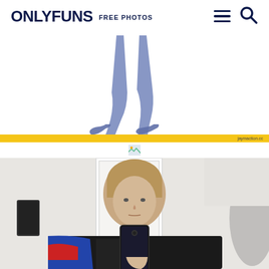ONLYFUNS FREE PHOTOS
[Figure (illustration): Two blue mannequin legs/feet on white background]
[Figure (photo): Woman taking a mirror selfie wearing a patterned knit sweater, with a door and another person visible in the background]